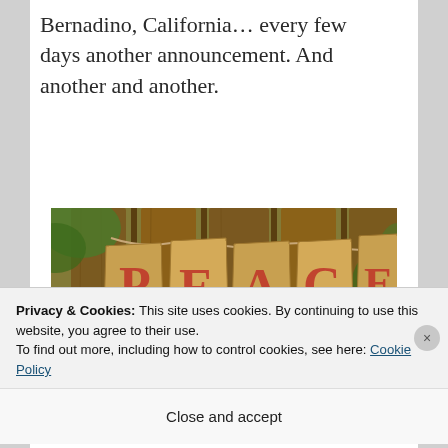Bernadino, California… every few days another announcement. And another and another.
[Figure (photo): A burlap banner spelling 'PEACE' in red block letters, hanging outdoors in front of a wooden fence with greenery in the background.]
Privacy & Cookies: This site uses cookies. By continuing to use this website, you agree to their use. To find out more, including how to control cookies, see here: Cookie Policy
Close and accept